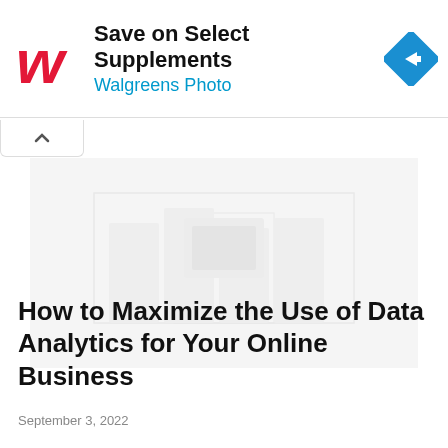[Figure (screenshot): Walgreens advertisement banner: red cursive W logo on left, bold text 'Save on Select Supplements' and blue text 'Walgreens Photo', blue diamond arrow icon on right]
[Figure (photo): Faded/loading article hero image placeholder (light gray box with faint image outlines)]
How to Maximize the Use of Data Analytics for Your Online Business
September 3, 2022